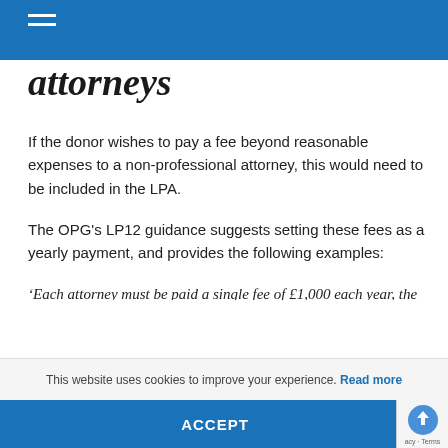attorneys
If the donor wishes to pay a fee beyond reasonable expenses to a non-professional attorney, this would need to be included in the LPA.
The OPG's LP12 guidance suggests setting these fees as a yearly payment, and provides the following examples:
‘Each attorney must be paid a single fee of £1,000 each year, the payment to be made on 20 December each year. The fees will stop when my estate drops to £[fill in amount].’
‘I wish each of my attorneys to be paid £ [fill in the amount] per year for their services under this LPA. My attorneys will stop being paid
This website uses cookies to improve your experience. Read more ACCEPT